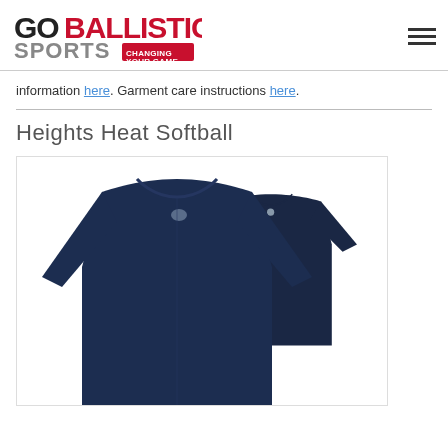Go Ballistic Sports - Changing Your Game [logo] [hamburger menu]
information here. Garment care instructions here.
Heights Heat Softball
[Figure (photo): Two navy blue long-sleeve compression shirts displayed on white background, one larger in front and one smaller behind it]